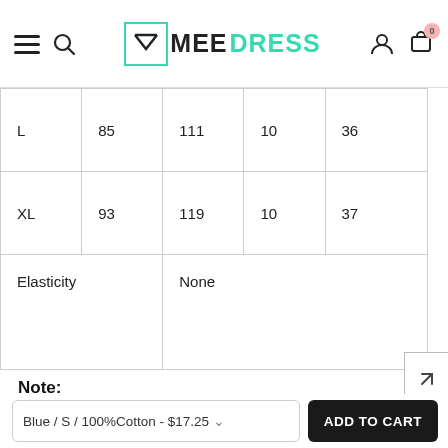MEEDRESS
| L | 85 | 111 | 10 | 36 |
| XL | 93 | 119 | 10 | 37 |
| Elasticity |  | None |  |  |
Note:
1.There maybe 1-2 cmdeviation in different sizes, locations and stretch of fabrics. Size chart is for reference only, there may be a little
Blue / S / 100%Cotton - $17.25  ADD TO CART